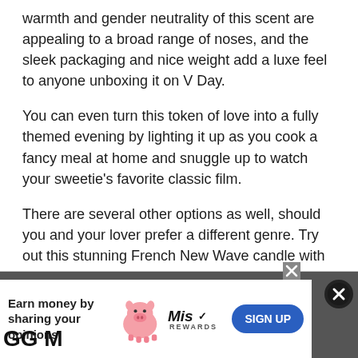warmth and gender neutrality of this scent are appealing to a broad range of noses, and the sleek packaging and nice weight add a luxe feel to anyone unboxing it on V Day.
You can even turn this token of love into a fully themed evening by lighting it up as you cook a fancy meal at home and snuggle up to watch your sweetie's favorite classic film.
There are several other options as well, should you and your lover prefer a different genre. Try out this stunning French New Wave candle with notes of pink pepper and jasmine, then flip on Elevator to the Gallows or Jules et Jim to spark a sultry evening.
$36.00
Buy Now
[Figure (other): Advertisement banner: 'Earn money by sharing your opinions' with a pink pig mascot, Miso Rewards logo, and a blue SIGN UP button. A dark close X button appears in the corner. Partial 'GG M' text visible at bottom left.]